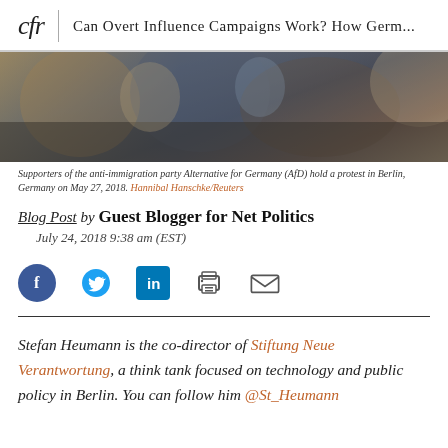cfr | Can Overt Influence Campaigns Work? How Germ...
[Figure (photo): Blurred crowd photo showing supporters of the anti-immigration party Alternative for Germany (AfD) holding a protest in Berlin]
Supporters of the anti-immigration party Alternative for Germany (AfD) hold a protest in Berlin, Germany on May 27, 2018. Hannibal Hanschke/Reuters
Blog Post by Guest Blogger for Net Politics
July 24, 2018 9:38 am (EST)
[Figure (infographic): Social sharing icons: Facebook, Twitter, LinkedIn, Print, Email]
Stefan Heumann is the co-director of Stiftung Neue Verantwortung, a think tank focused on technology and public policy in Berlin. You can follow him @St_Heumann